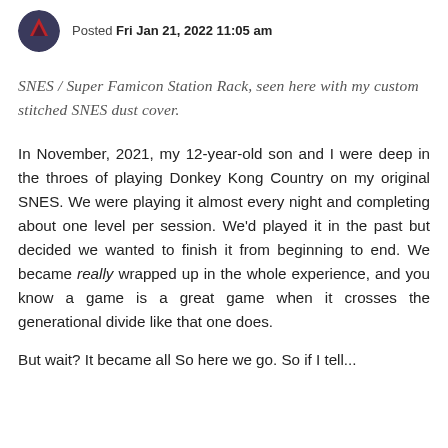Posted Fri Jan 21, 2022 11:05 am
SNES / Super Famicon Station Rack, seen here with my custom stitched SNES dust cover.
In November, 2021, my 12-year-old son and I were deep in the throes of playing Donkey Kong Country on my original SNES. We were playing it almost every night and completing about one level per session. We'd played it in the past but decided we wanted to finish it from beginning to end. We became really wrapped up in the whole experience, and you know a game is a great game when it crosses the generational divide like that one does.
But wait? It became all So here we go. So if I tell...